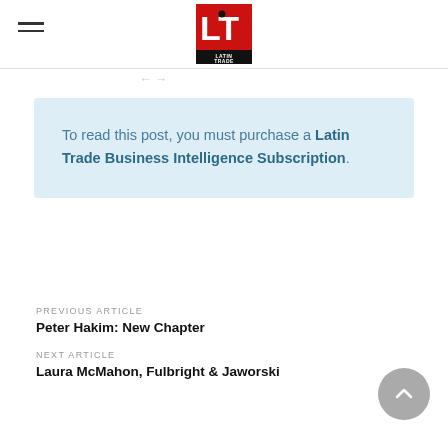Latin Trade logo
To read this post, you must purchase a Latin Trade Business Intelligence Subscription.
PREVIOUS ARTICLE
Peter Hakim: New Chapter
NEXT ARTICLE
Laura McMahon, Fulbright & Jaworski